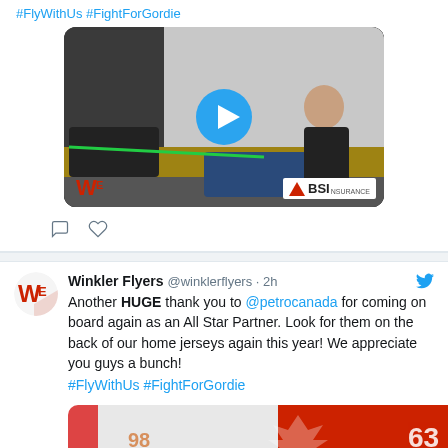#FlyWithUs #FightForGordie
[Figure (photo): Video thumbnail showing hockey players in a locker room with equipment, with a play button overlay. Logos: Winkler Flyers (WF) and BSI Insurance.]
Winkler Flyers @winklerflyers · 2h
Another HUGE thank you to @petrocanada for coming on board again as an All Star Partner. Look for them on the back of our home jerseys again this year! We appreciate you guys a bunch! #FlyWithUs #FightForGordie
[Figure (photo): Partial photo showing hockey jerseys with red background and player numbers visible (63 and others)]